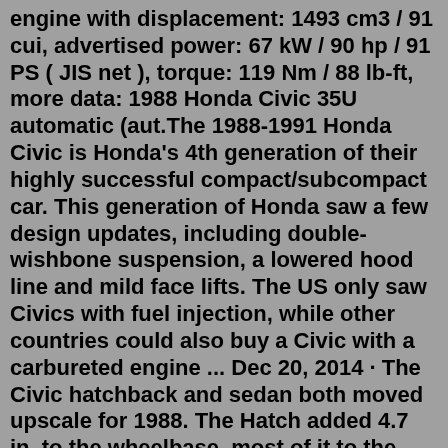engine with displacement: 1493 cm3 / 91 cui, advertised power: 67 kW / 90 hp / 91 PS ( JIS net ), torque: 119 Nm / 88 lb-ft, more data: 1988 Honda Civic 35U automatic (aut.The 1988-1991 Honda Civic is Honda's 4th generation of their highly successful compact/subcompact car. This generation of Honda saw a few design updates, including double-wishbone suspension, a lowered hood line and mild face lifts. The US only saw Civics with fuel injection, while other countries could also buy a Civic with a carbureted engine ... Dec 20, 2014 · The Civic hatchback and sedan both moved upscale for 1988. The Hatch added 4.7 in. to the wheelbase, most of it to the benefit of rear seat passengers. The 4-door made do with only a 1.9 in. stretch, but enjoyed noticeable refinements in NVH characteristics along with a more plush interior and larger trunk. A new top line LX was added. Research 1988 Honda Civic specs for the trims available. Choose the desired trim / style from the dropdown list to see the corresponding specs. DX 4dr Sedan LX 4dr Sedan 2dr Hatchback DX 2dr